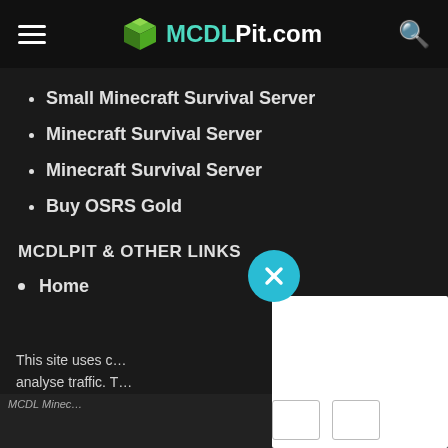MCDLPit.com
Small Minecraft Survival Server
Minecraft Survival Server
Minecraft Survival Server
Buy OSRS Gold
MCDLPIT & OTHER LINKS
Home
This site uses c… analyse traffic. T… with Google, tog… to ensure quali… detect abuse. L…